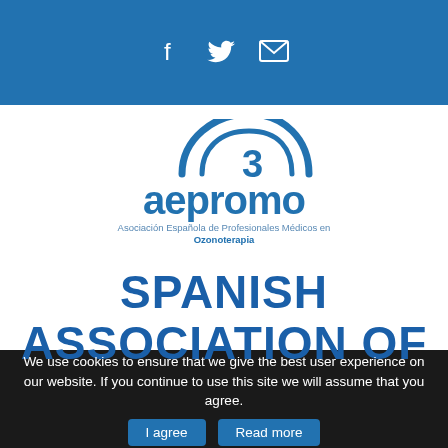Social icons: Facebook, Twitter, Email
[Figure (logo): Aepromo logo with stylized '3' arc symbol above the text 'aepromo' and subtitle 'Asociación Española de Profesionales Médicos en Ozonoterapia']
SPANISH ASSOCIATION OF
We use cookies to ensure that we give the best user experience on our website. If you continue to use this site we will assume that you agree.